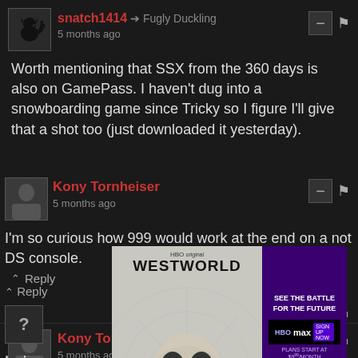snatch1414 → Fugly Duckling
5 months ago
Worth mentioning that SSX from the 360 days is also on GamePass. I haven't dug into a snowboarding game since Tricky so I figure I'll give that a shot too (just downloaded it yesterday).
↑ Reply
Kony Tornheiser
5 months ago
I'm so curious how 999 would work at the end on a not DS console.
↑ Reply
[Figure (screenshot): Westworld HBO Max advertisement showing a skull on a stick with 'WESTWORLD' text and 'SEE THE BATTLE FOR THE FUTURE' promotional text with HBO Max logo]
I wish... again. The f... come... best ... good...